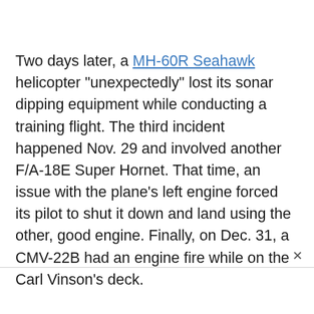Two days later, a MH-60R Seahawk helicopter "unexpectedly" lost its sonar dipping equipment while conducting a training flight. The third incident happened Nov. 29 and involved another F/A-18E Super Hornet. That time, an issue with the plane's left engine forced its pilot to shut it down and land using the other, good engine. Finally, on Dec. 31, a CMV-22B had an engine fire while on the Carl Vinson's deck.